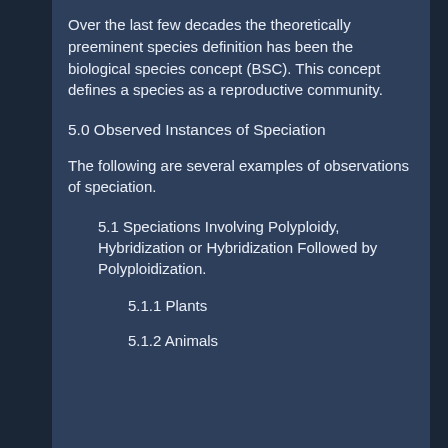Over the last few decades the theoretically preeminent species definition has been the biological species concept (BSC). This concept defines a species as a reproductive community.
5.0 Observed Instances of Speciation
The following are several examples of observations of speciation.
5.1 Speciations Involving Polyploidy, Hybridization or Hybridization Followed by Polyploidization.
5.1.1 Plants
5.1.2 Animals